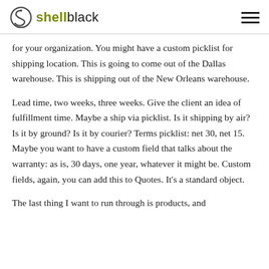shellblack
for your organization. You might have a custom picklist for shipping location. This is going to come out of the Dallas warehouse. This is shipping out of the New Orleans warehouse.
Lead time, two weeks, three weeks. Give the client an idea of fulfillment time. Maybe a ship via picklist. Is it shipping by air? Is it by ground? Is it by courier? Terms picklist: net 30, net 15. Maybe you want to have a custom field that talks about the warranty: as is, 30 days, one year, whatever it might be. Custom fields, again, you can add this to Quotes. It's a standard object.
The last thing I want to run through is products, and